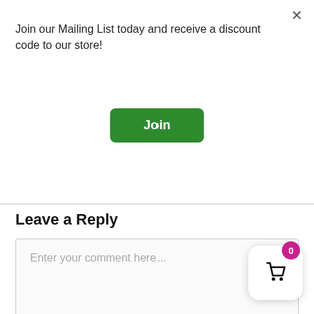×
Join our Mailing List today and receive a discount code to our store!
[Figure (other): Green 'Join' button]
Leave a Reply
Enter your comment here...
[Figure (other): Shopping cart icon with badge showing 0]